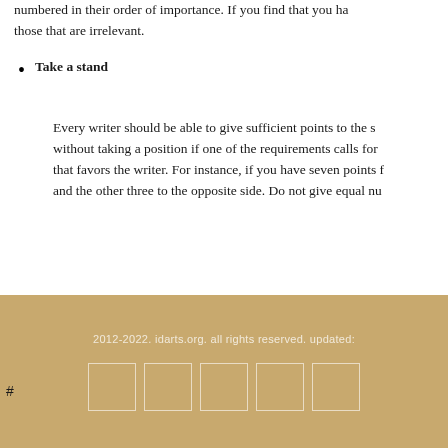numbered in their order of importance. If you find that you ha those that are irrelevant.
Take a stand
Every writer should be able to give sufficient points to the s without taking a position if one of the requirements calls for that favors the writer. For instance, if you have seven points f and the other three to the opposite side. Do not give equal nu
2012-2022. idarts.org. all rights reserved. updated: